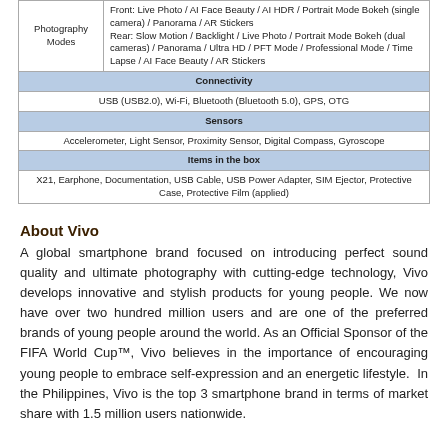| Photography Modes | Front: Live Photo / AI Face Beauty / AI HDR / Portrait Mode Bokeh (single camera) / Panorama / AR Stickers
Rear: Slow Motion / Backlight / Live Photo / Portrait Mode Bokeh (dual cameras) / Panorama / Ultra HD / PFT Mode / Professional Mode / Time Lapse / AI Face Beauty / AR Stickers |
| Connectivity | USB (USB2.0), Wi-Fi, Bluetooth (Bluetooth 5.0), GPS, OTG |
| Sensors | Accelerometer, Light Sensor, Proximity Sensor, Digital Compass, Gyroscope |
| Items in the box | X21, Earphone, Documentation, USB Cable, USB Power Adapter, SIM Ejector, Protective Case, Protective Film (applied) |
About Vivo
A global smartphone brand focused on introducing perfect sound quality and ultimate photography with cutting-edge technology, Vivo develops innovative and stylish products for young people. We now have over two hundred million users and are one of the preferred brands of young people around the world. As an Official Sponsor of the FIFA World Cup™, Vivo believes in the importance of encouraging young people to embrace self-expression and an energetic lifestyle.  In the Philippines, Vivo is the top 3 smartphone brand in terms of market share with 1.5 million users nationwide.